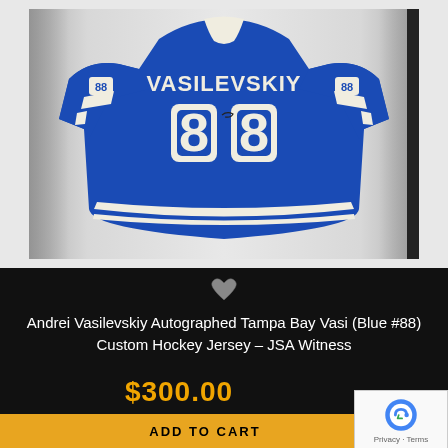[Figure (photo): Blue Tampa Bay Lightning #88 Vasilevskiy autographed custom hockey jersey displayed from the back, showing name VASILEVSKIY and number 88 with white trim and stripes on sleeves]
Andrei Vasilevskiy Autographed Tampa Bay Vasi (Blue #88) Custom Hockey Jersey – JSA Witness
$300.00
ADD TO CART